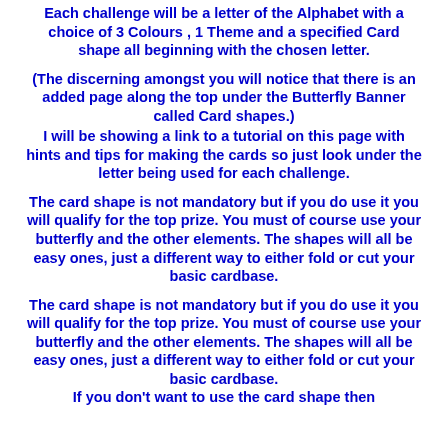Each challenge will be a letter of the Alphabet with a choice of 3 Colours , 1 Theme and a specified Card shape all beginning with the chosen letter.
(The discerning amongst you will notice that there is an added page along the top under the Butterfly Banner called Card shapes.) I will be showing a link to a tutorial on this page with hints and tips for making the cards so just look under the letter being used for each challenge.
The card shape is not mandatory but if you do use it you will qualify for the top prize. You must of course use your butterfly and the other elements. The shapes will all be easy ones, just a different way to either fold or cut your basic cardbase.
The card shape is not mandatory but if you do use it you will qualify for the top prize. You must of course use your butterfly and the other elements. The shapes will all be easy ones, just a different way to either fold or cut your basic cardbase.
If you don't want to use the card shape then